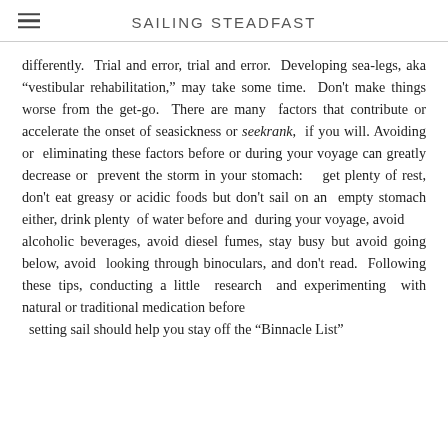SAILING STEADFAST
differently. Trial and error, trial and error. Developing sea-legs, aka “vestibular rehabilitation,” may take some time. Don't make things worse from the get-go. There are many factors that contribute or accelerate the onset of seasickness or seekrank, if you will. Avoiding or eliminating these factors before or during your voyage can greatly decrease or prevent the storm in your stomach: get plenty of rest, don't eat greasy or acidic foods but don't sail on an empty stomach either, drink plenty of water before and during your voyage, avoid alcoholic beverages, avoid diesel fumes, stay busy but avoid going below, avoid looking through binoculars, and don't read. Following these tips, conducting a little research and experimenting with natural or traditional medication before setting sail should help you stay off the “Binnacle List”